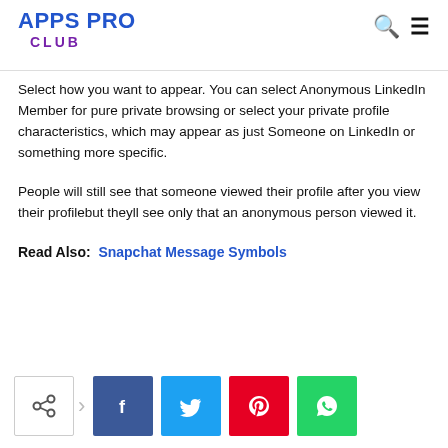APPS PRO CLUB
Select how you want to appear. You can select Anonymous LinkedIn Member for pure private browsing or select your private profile characteristics, which may appear as just Someone on LinkedIn or something more specific.
People will still see that someone viewed their profile after you view their profilebut theyll see only that an anonymous person viewed it.
Read Also:  Snapchat Message Symbols
[Figure (other): Social share buttons row: share icon button, arrow, Facebook button, Twitter button, Pinterest button, WhatsApp button]